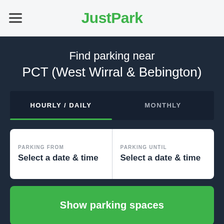JustPark
Find parking near PCT (West Wirral & Bebington)
HOURLY / DAILY | MONTHLY
PARKING FROM: Select a date & time | PARKING UNTIL: Select a date & time
Show parking spaces